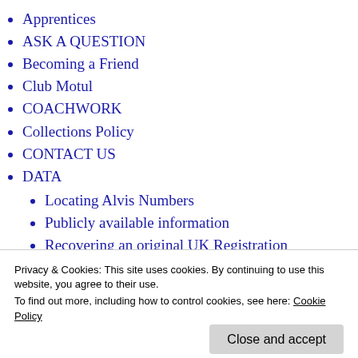Apprentices
ASK A QUESTION
Becoming a Friend
Club Motul
COACHWORK
Collections Policy
CONTACT US
DATA
Locating Alvis Numbers
Publicly available information
Recovering an original UK Registration
Privacy & Cookies: This site uses cookies. By continuing to use this website, you agree to their use.
To find out more, including how to control cookies, see here: Cookie Policy
Close and accept
settings